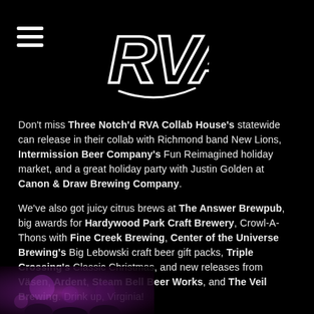RVA (logo)
Don't miss Three Notch'd RVA Collab House's statewide can release in their collab with Richmond band New Lions, Intermission Beer Company's Fun Reimagined holiday market, and a great holiday party with Justin Golden at Canon & Draw Brewing Company.
We've also got juicy citrus brews at The Answer Brewpub, big awards for Hardywood Park Craft Brewery, Crowl-A-Thons with Fine Creek Brewing, Center of the Universe Brewing's Big Lebowski craft beer gift packs, Triple Crossing's Classic Christmas, and new releases from Väsen, Ardent, Steam Bell Beer Works, and The Veil Brewing. Drink up, Virginia!
[Figure (photo): Bottom portion showing a dark concert/party scene with colorful lighting]